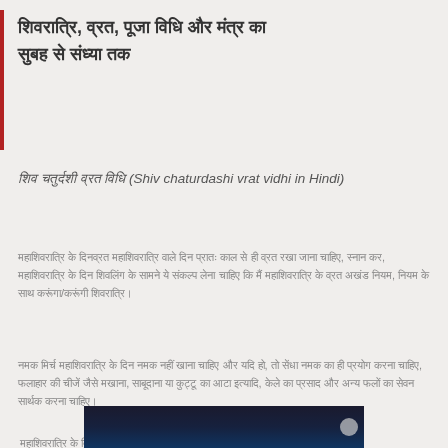शिवरात्रि, व्रत, पूजा विधि और मंत्र का सुबह से संध्या तक
शिव चतुर्दशी व्रत विधि (Shiv chaturdashi vrat vidhi in Hindi)
महाशिवरात्रि के दिन व्रत महाशिवरात्रि वाले दिन प्रातः काल से ही व्रत रखा जाना चाहिए, स्नान कर, महाशिवरात्रि के दिन शिवलिंग के सामने ये संकल्प लेना चाहिए कि मैं महाशिवरात्रि के व्रत अखंड नियम, नियम के साथ करूंगा/करूंगी शिवरात्रि।
नमक मिर्च महाशिवरात्रि के दिन नमक नहीं खाना चाहिए और यदि हो, तो सेंधा नमक का ही प्रयोग करना चाहिए, फलाहार की चीजें जैसे मखाना, साबूदाना या कुट्टू का आटा इत्यादि, केले का प्रसाद और अन्य फलों का सेवन सार्थक करना चाहिए।
महाशिवरात्रि के दिन शिवलिंग के पास जाने हेतु महाशिवरात्रि के दिन पूजा करनी चाहिए
[Figure (photo): Dark image strip showing a religious scene with dim lighting, positioned at the bottom center of the page]